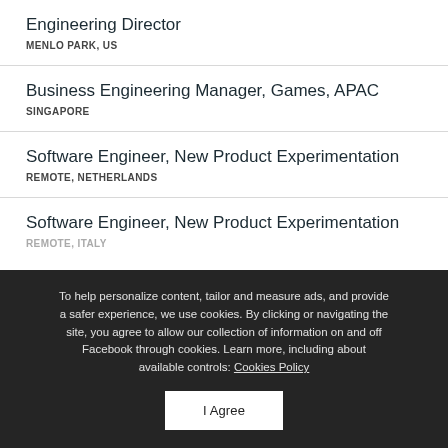Engineering Director
MENLO PARK, US
Business Engineering Manager, Games, APAC
SINGAPORE
Software Engineer, New Product Experimentation
REMOTE, NETHERLANDS
Software Engineer, New Product Experimentation
REMOTE, ITALY
To help personalize content, tailor and measure ads, and provide a safer experience, we use cookies. By clicking or navigating the site, you agree to allow our collection of information on and off Facebook through cookies. Learn more, including about available controls: Cookies Policy
I Agree